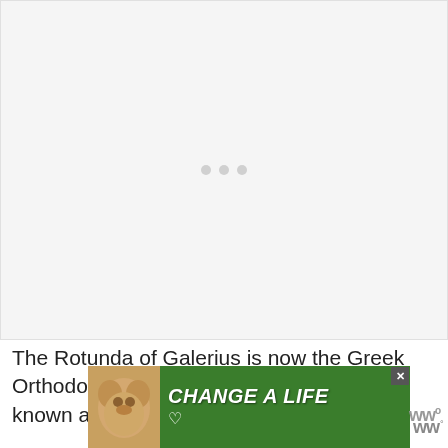[Figure (photo): A mostly blank/loading image placeholder with three gray dots indicating a loading spinner or carousel indicator, set against a light gray background.]
The Rotunda of Galerius is now the Greek Orthodox Church of Agios Georgios, better known as the Church of...
[Figure (other): Advertisement banner with green background showing a dog and text 'CHANGE A LIFE' with a heart icon. Has a close button (X) in the corner.]